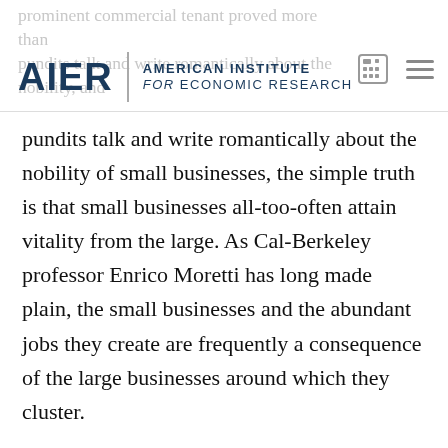AIER | AMERICAN INSTITUTE for ECONOMIC RESEARCH
prominent commercial tenant proved more than pundits talk and write romantically about the nobility of small businesses, the simple truth is that small businesses all-too-often attain vitality from the large. As Cal-Berkeley professor Enrico Moretti has long made plain, the small businesses and the abundant jobs they create are frequently a consequence of the large businesses around which they cluster.
This was certainly true in Glover Park. The existence of a Whole Foods proved a magnet for more than shoppers who were devoted fans of the store's food curation. It also proved a magnet for smaller, much-lesser-known businesses that logically saw opportunity from the foot traffic that Whole Foods would drive.